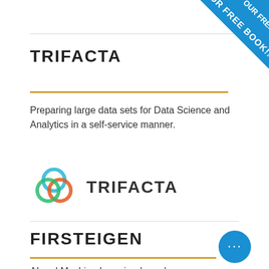[Figure (logo): Blue diagonal banner in top-right corner with text 'OUR FREE BOOK!!']
TRIFACTA
Preparing large data sets for Data Science and Analytics in a self-service manner.
[Figure (logo): Trifacta logo: three interlocking circles in blue, orange/red, and green, with the wordmark 'TRIFACTA' in bold dark letters]
FIRSTEIGEN
AI and Machine Learning-based